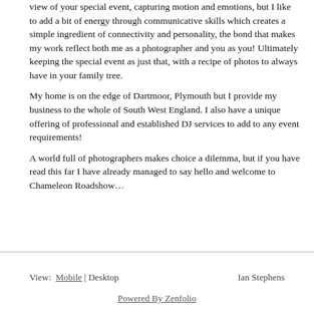view of your special event, capturing motion and emotions, but I like to add a bit of energy through communicative skills which creates a simple ingredient of connectivity and personality, the bond that makes my work reflect both me as a photographer and you as you! Ultimately keeping the special event as just that, with a recipe of photos to always have in your family tree.
My home is on the edge of Dartmoor, Plymouth but I provide my business to the whole of South West England. I also have a unique offering of professional and established DJ services to add to any event requirements!
A world full of photographers makes choice a dilemma, but if you have read this far I have already managed to say hello and welcome to Chameleon Roadshow…
View:  Mobile | Desktop    Ian Stephens    Powered By Zenfolio